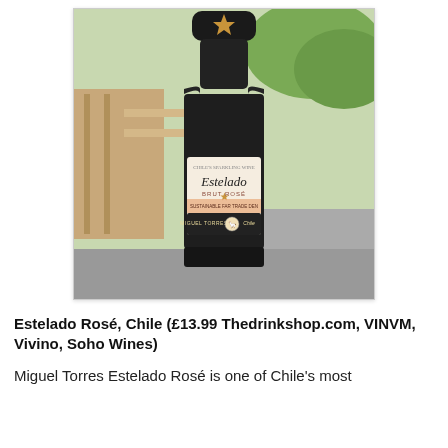[Figure (photo): Photograph of a bottle of Estelado Brut Rosé sparkling wine by Miguel Torres Chile, with a black bottle and pink/white label, photographed outdoors on what appears to be a wooden railing with a scenic background.]
Estelado Rosé, Chile (£13.99 Thedrinkshop.com, VINVM, Vivino, Soho Wines)
Miguel Torres Estelado Rosé is one of Chile's most